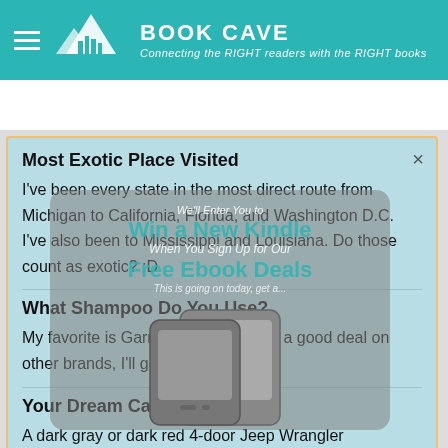BOOK CAVE — Connecting the RIGHT readers with the RIGHT books
PROFILE | BOOKS | COMMENTS
Most Exotic Place Visited
I've been every state in the most direct route from Michigan to California, Florida, and Washington D.C. I've also been to Mississippi and Louisiana. Do those count as exotic? :D
What Shampoo Do You Use?
My favorite is Garnier but if I can get a good deal on other brands, I'll get those instead.
Your Dream Car
A dark gray or dark red 4-door Jeep Wrangler
[Figure (screenshot): Popup overlay showing a Kindle giveaway promotion: 'We'll Enter You to Win a New Kindle When You Sign Up for Our Free Ebook Deals', with images of Kindle devices]